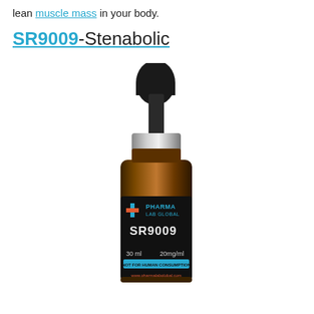lean muscle mass in your body.
SR9009-Stenabolic
[Figure (photo): A dropper bottle of SR9009 by Pharma Lab Global. The amber glass bottle has a black label showing a blue and orange plus sign logo, the text 'PHARMA LAB GLOBAL', 'SR9009', '30 ml', '20mg/ml', a teal 'NOT FOR HUMAN CONSUMPTION' banner, and 'www.pharmalabglobal.com'. The bottle has a silver metallic collar and a black rubber dropper bulb on top.]